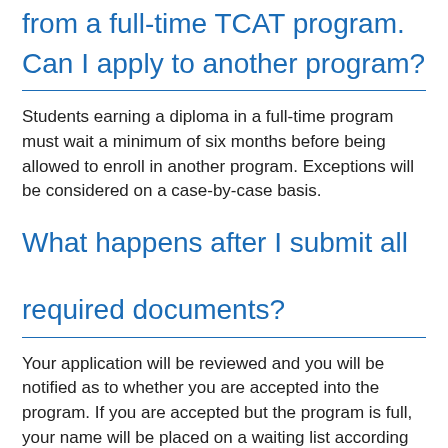from a full-time TCAT program.
Can I apply to another program?
Students earning a diploma in a full-time program must wait a minimum of six months before being allowed to enroll in another program. Exceptions will be considered on a case-by-case basis.
What happens after I submit all required documents?
Your application will be reviewed and you will be notified as to whether you are accepted into the program. If you are accepted but the program is full, your name will be placed on a waiting list according to your application's date of